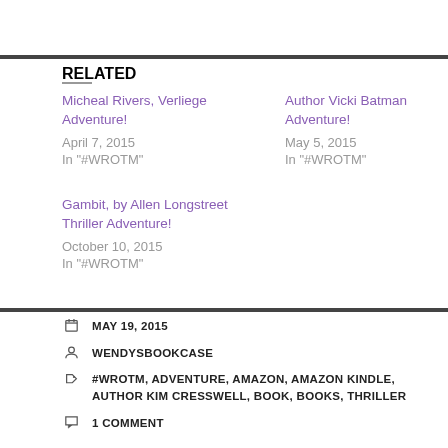RELATED
Micheal Rivers, Verliege Adventure!
April 7, 2015
In "#WROTM"
Author Vicki Batman Adventure!
May 5, 2015
In "#WROTM"
Gambit, by Allen Longstreet Thriller Adventure!
October 10, 2015
In "#WROTM"
MAY 19, 2015
WENDYSBOOKCASE
#WROTM, ADVENTURE, AMAZON, AMAZON KINDLE, AUTHOR KIM CRESSWELL, BOOK, BOOKS, THRILLER
1 COMMENT